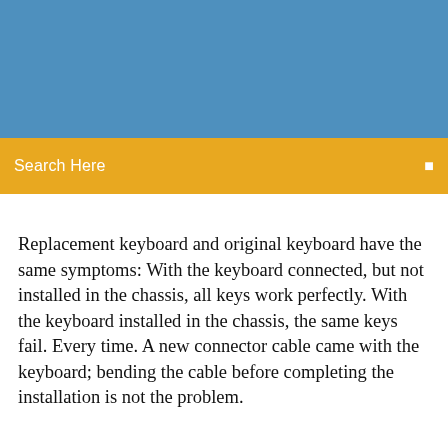[Figure (other): Blue banner background at top of page]
Search Here
Replacement keyboard and original keyboard have the same symptoms: With the keyboard connected, but not installed in the chassis, all keys work perfectly. With the keyboard installed in the chassis, the same keys fail. Every time. A new connector cable came with the keyboard; bending the cable before completing the installation is not the problem.